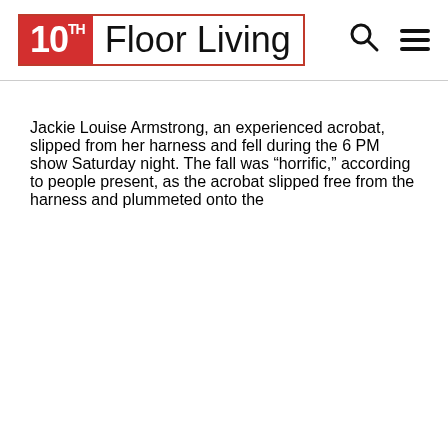10TH Floor Living
Jackie Louise Armstrong, an experienced acrobat, slipped from her harness and fell during the 6 PM show Saturday night. The fall was “horrific,” according to people present, as the acrobat slipped free from the harness and plummeted onto the